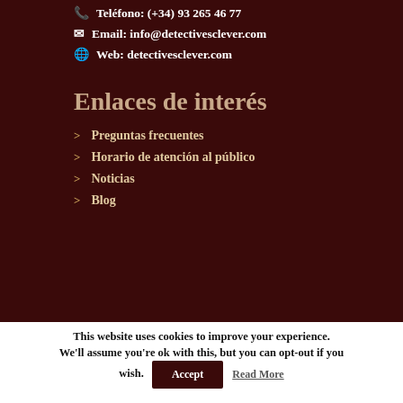Teléfono: (+34) 93 265 46 77
Email: info@detectivesclever.com
Web: detectivesclever.com
Enlaces de interés
Preguntas frecuentes
Horario de atención al público
Noticias
Blog
This website uses cookies to improve your experience. We'll assume you're ok with this, but you can opt-out if you wish. Accept Read More